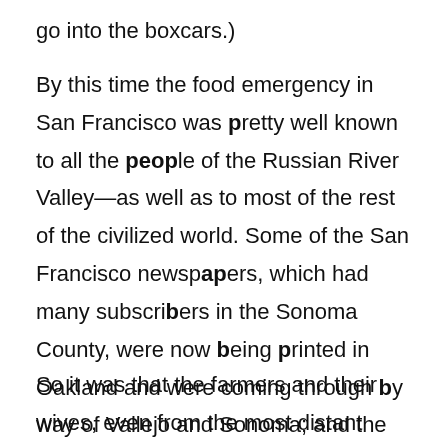go into the boxcars.)
By this time the food emergency in San Francisco was pretty well known to all the people of the Russian River Valley—as well as to most of the rest of the civilized world. Some of the San Francisco newspapers, which had many subscribers in the Sonoma County, were now being printed in Oakland and were coming through by way of Vallejo and Sonoma; and the Santa Rosa dailies were also bringing in reports of the extent of the holocaust.
So it was that the farmers and their wives, even from the most distant farms in that section of the